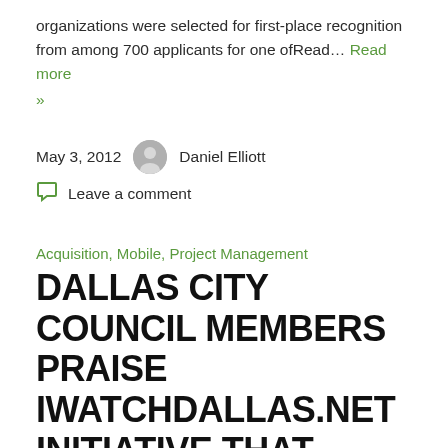organizations were selected for first-place recognition from among 700 applicants for one ofRead… Read more »
May 3, 2012   Daniel Elliott
Leave a comment
Acquisition, Mobile, Project Management
DALLAS CITY COUNCIL MEMBERS PRAISE IWATCHDALLAS.NET INITIATIVE THAT SEEKS CRIME TIPS VIA WEB, TEXT